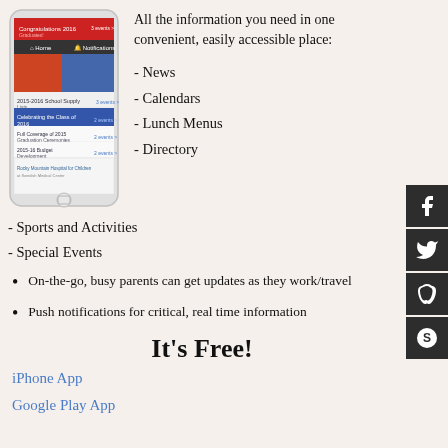[Figure (screenshot): Screenshot of a school mobile app on a smartphone showing news items including school supply lists, graduation announcements, and budget development]
All the information you need in one convenient, easily accessible place:
- News
- Calendars
- Lunch Menus
- Directory
- Sports and Activities
- Special Events
On-the-go, busy parents can get updates as they work/travel
Push notifications for critical, real time information
It's Free!
iPhone App
Google Play App